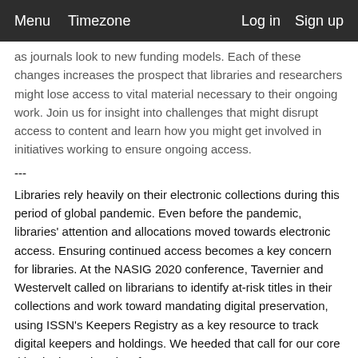Menu  Timezone  Log in  Sign up
as journals look to new funding models. Each of these changes increases the prospect that libraries and researchers might lose access to vital material necessary to their ongoing work. Join us for insight into challenges that might disrupt access to content and learn how you might get involved in initiatives working to ensure ongoing access.
---
Libraries rely heavily on their electronic collections during this period of global pandemic. Even before the pandemic, libraries' attention and allocations moved towards electronic access. Ensuring continued access becomes a key concern for libraries. At the NASIG 2020 conference, Tavernier and Westervelt called on librarians to identify at-risk titles in their collections and work toward mandating digital preservation, using ISSN's Keepers Registry as a key resource to track digital keepers and holdings. We heeded that call for our core titles in the University of